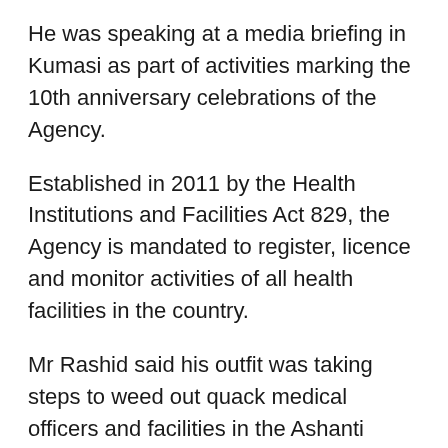He was speaking at a media briefing in Kumasi as part of activities marking the 10th anniversary celebrations of the Agency.
Established in 2011 by the Health Institutions and Facilities Act 829, the Agency is mandated to register, licence and monitor activities of all health facilities in the country.
Mr Rashid said his outfit was taking steps to weed out quack medical officers and facilities in the Ashanti Region to ensure facilities in the Region were of high standards and could guarantee the safety of their clients.
“HeFRA has grown from not having concrete